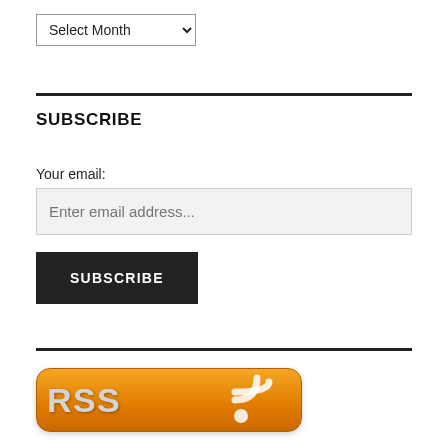[Figure (screenshot): Dropdown selector showing 'Select Month' with a chevron arrow]
SUBSCRIBE
Your email:
[Figure (screenshot): Email input field with placeholder text 'Enter email address...']
[Figure (screenshot): Dark subscribe button with white uppercase text 'SUBSCRIBE']
[Figure (screenshot): Orange RSS button with RSS text and feed icon]